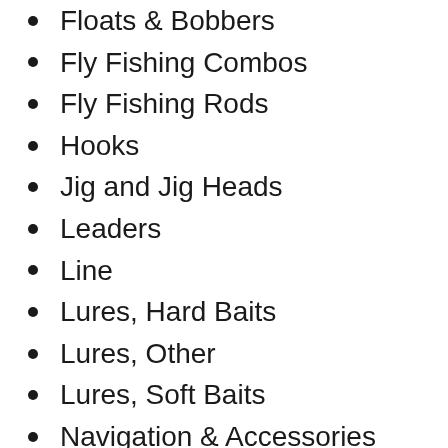Floats & Bobbers
Fly Fishing Combos
Fly Fishing Rods
Hooks
Jig and Jig Heads
Leaders
Line
Lures, Hard Baits
Lures, Other
Lures, Soft Baits
Navigation & Accessories